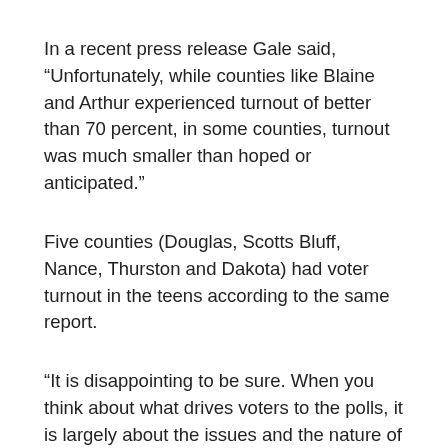In a recent press release Gale said, “Unfortunately, while counties like Blaine and Arthur experienced turnout of better than 70 percent, in some counties, turnout was much smaller than hoped or anticipated.”
Five counties (Douglas, Scotts Bluff, Nance, Thurston and Dakota) had voter turnout in the teens according to the same report.
“It is disappointing to be sure. When you think about what drives voters to the polls, it is largely about the issues and the nature of the contested races that appear on the ballot. That was true in this election. There were strongly contested races for U.S. Senate, Congress and several state executive offices and yet,